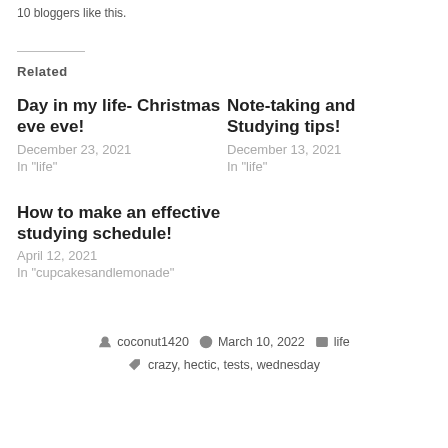10 bloggers like this.
Related
Day in my life- Christmas eve eve!
December 23, 2021
In "life"
Note-taking and Studying tips!
December 13, 2021
In "life"
How to make an effective studying schedule!
April 12, 2021
In "cupcakesandlemonade"
coconut1420  March 10, 2022  life  crazy, hectic, tests, wednesday